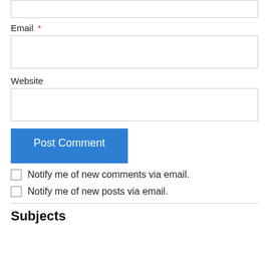Email *
Website
Post Comment
Notify me of new comments via email.
Notify me of new posts via email.
Subjects